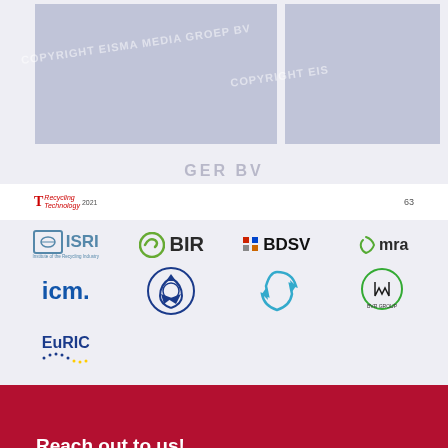[Figure (logo): Page section showing two watermarked blue-gray image placeholders with 'COPYRIGHT EISMA MEDIA GROEP BV' watermark text, a recycling technology magazine logo (Recycling Technology 2021), page number 63, and partially visible text 'GROEP BV']
[Figure (logo): Grid of association/organization logos: ISRI (Institute of the Recycling Industry), BIR, BDSV, mra, icm., recycling association circular logos (two), BMR logo, EuRIC logo]
Reach out to us!
Magazine archive
Editors' Top Picks